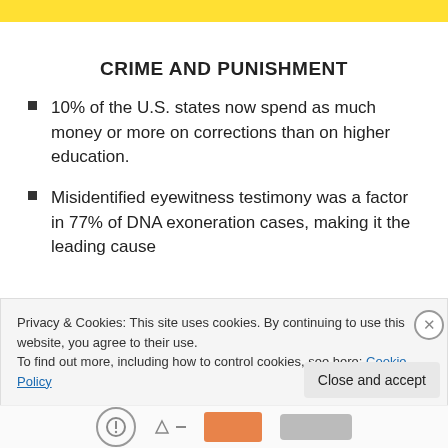[Figure (other): Yellow banner bar at top of page]
CRIME AND PUNISHMENT
10% of the U.S. states now spend as much money or more on corrections than on higher education.
Misidentified eyewitness testimony was a factor in 77% of DNA exoneration cases, making it the leading cause
Privacy & Cookies: This site uses cookies. By continuing to use this website, you agree to their use.
To find out more, including how to control cookies, see here: Cookie Policy